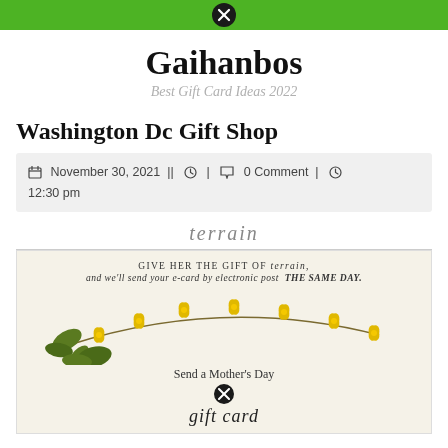Gaihanbos navigation bar with close button
Gaihanbos
Best Gift Card Ideas 2022
Washington Dc Gift Shop
November 30, 2021 | | [author icon] | [comment icon] 0 Comment | [clock icon] 12:30 pm
[Figure (illustration): Terrain gift card promotional image with floral botanical illustration, yellow flowers on a branch, text: GIVE HER THE GIFT OF terrain, and we'll send your e-card by electronic post THE SAME DAY. Send a Mother's Day [gift card]. terrain logo at top.]